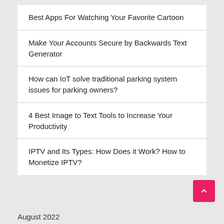Best Apps For Watching Your Favorite Cartoon
Make Your Accounts Secure by Backwards Text Generator
How can IoT solve traditional parking system issues for parking owners?
4 Best Image to Text Tools to Increase Your Productivity
IPTV and Its Types: How Does it Work? How to Monetize IPTV?
August 2022